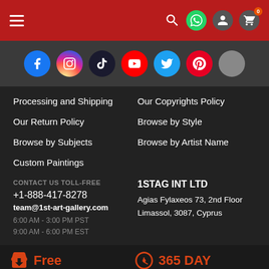Navigation bar with hamburger menu, search, WhatsApp, account, and cart icons
[Figure (other): Social media icons row: Facebook, Instagram, TikTok, YouTube, Twitter, Pinterest, and one grey icon]
Processing and Shipping
Our Copyrights Policy
Our Return Policy
Browse by Style
Browse by Subjects
Browse by Artist Name
Custom Paintings
CONTACT US TOLL-FREE
+1-888-417-8278
team@1st-art-gallery.com
6:00 AM - 3:00 PM PST
9:00 AM - 6:00 PM EST
1STAG INT LTD
Agias Fylaxeos 73, 2nd Floor
Limassol, 3087, Cyprus
Free
365 DAY